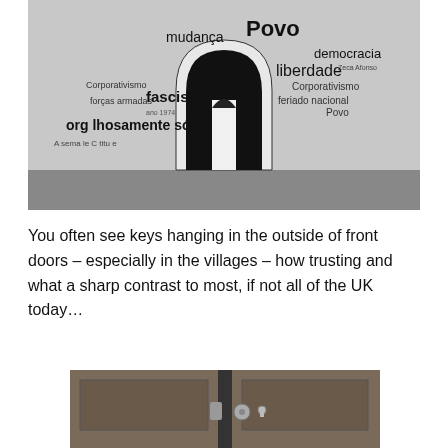[Figure (photo): Black and white photograph of a whitewashed wall with an arched doorway, covered in Portuguese political words such as 'Povo', 'mudança', 'liberdade', 'democracia', 'fascismo', 'Corporativismo', 'forças armadas', 'feriado nacional', 'orgulhosamente sós', 'ano 1974', 'Zeca Afonso']
You often see keys hanging in the outside of front doors – especially in the villages – how trusting and what a sharp contrast to most, if not all of the UK today…
[Figure (photo): Black and white close-up photograph of a wooden door with metal hardware and locks]